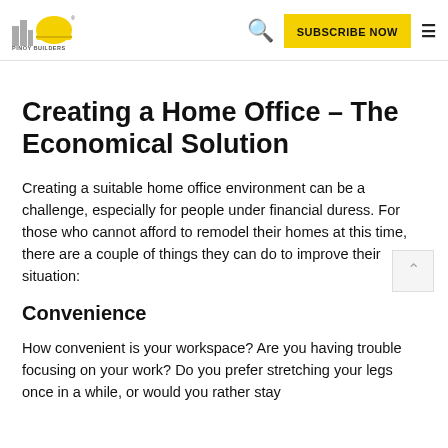Pinoy Builders — SUBSCRIBE NOW [search icon] [menu icon]
Creating a Home Office – The Economical Solution
Creating a suitable home office environment can be a challenge, especially for people under financial duress. For those who cannot afford to remodel their homes at this time, there are a couple of things they can do to improve their situation:
Convenience
How convenient is your workspace? Are you having trouble focusing on your work? Do you prefer stretching your legs once in a while, or would you rather stay